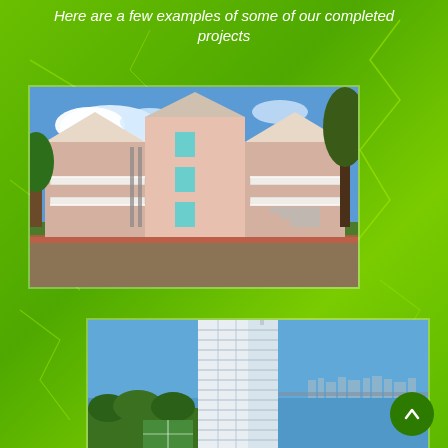Here are a few examples of some of our completed projects
[Figure (photo): A large Victorian-style multi-story residential building in pink and white, with decorative balconies and porches, surrounded by tropical landscaping, under a blue sky. Construction or painting work appears to be in progress.]
[Figure (photo): Aerial view of a tall modern high-rise condominium tower located on a waterfront, with a bay or lake in the background and a cityscape on the horizon. Blue sky above.]